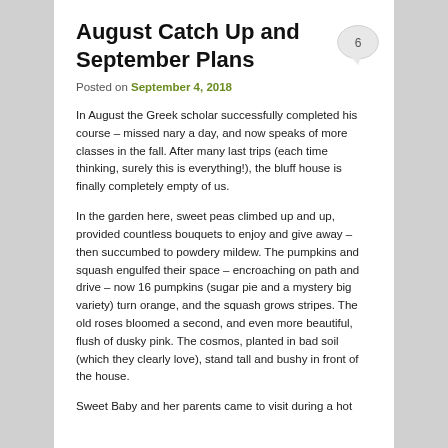August Catch Up and September Plans
Posted on September 4, 2018
In August the Greek scholar successfully completed his course – missed nary a day, and now speaks of more classes in the fall. After many last trips (each time thinking, surely this is everything!), the bluff house is finally completely empty of us.
In the garden here, sweet peas climbed up and up, provided countless bouquets to enjoy and give away – then succumbed to powdery mildew. The pumpkins and squash engulfed their space – encroaching on path and drive – now 16 pumpkins (sugar pie and a mystery big variety) turn orange, and the squash grows stripes. The old roses bloomed a second, and even more beautiful, flush of dusky pink. The cosmos, planted in bad soil (which they clearly love), stand tall and bushy in front of the house.
Sweet Baby and her parents came to visit during a hot